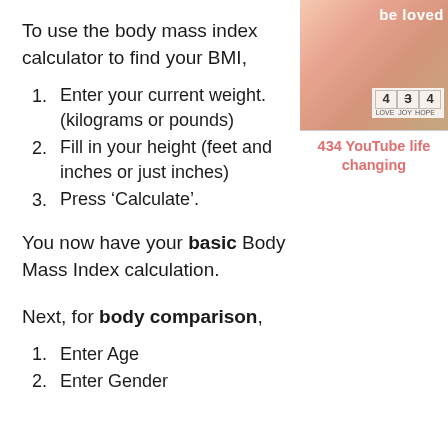To use the body mass index calculator to find your BMI,
Enter your current weight. (kilograms or pounds)
Fill in your height (feet and inches or just inches)
Press ‘Calculate’.
[Figure (screenshot): YouTube video thumbnail showing '434 YouTube life changing' with a decorative image and grid showing numbers 4, 3, 4 with labels LOVE, JOY, HOPE]
You now have your basic Body Mass Index calculation.
Next, for body comparison,
Enter Age
Enter Gender